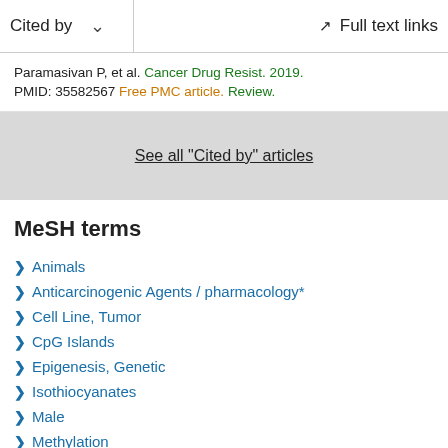Cited by   Full text links
Paramasivan P, et al. Cancer Drug Resist. 2019.
PMID: 35582567 Free PMC article. Review.
See all "Cited by" articles
MeSH terms
Animals
Anticarcinogenic Agents / pharmacology*
Cell Line, Tumor
CpG Islands
Epigenesis, Genetic
Isothiocyanates
Male
Methylation